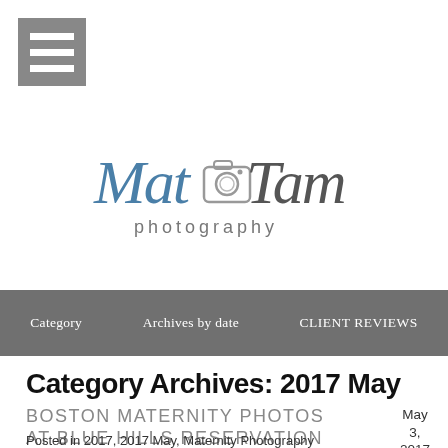[Figure (logo): Hamburger/menu icon — three white horizontal bars on a grey square background]
[Figure (logo): Mat Tam Photography logo — cursive script text 'Mat Tam' in blue/grey with a camera icon, and 'photography' below in grey sans-serif]
Category    Archives by date    CLIENT REVIEWS
Category Archives: 2017 May
BOSTON MATERNITY PHOTOS AT BLUE HILLS RESERVATION
May 3, 2017
Posted in 2017, 2017 May, Maternity Photography